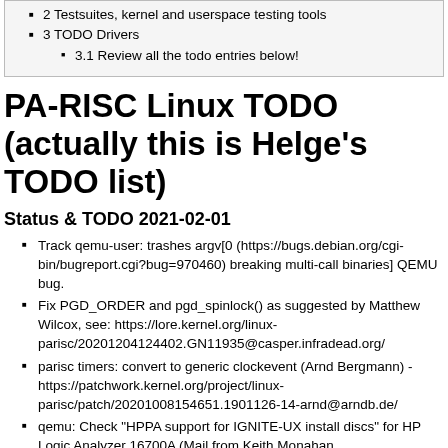2 Testsuites, kernel and userspace testing tools
3 TODO Drivers
3.1 Review all the todo entries below!
PA-RISC Linux TODO (actually this is Helge's TODO list)
Status & TODO 2021-02-01
Track qemu-user: trashes argv[0 (https://bugs.debian.org/cgi-bin/bugreport.cgi?bug=970460) breaking multi-call binaries] QEMU bug.
Fix PGD_ORDER and pgd_spinlock() as suggested by Matthew Wilcox, see: https://lore.kernel.org/linux-parisc/20201204124402.GN11935@casper.infradead.org/
parisc timers: convert to generic clockevent (Arnd Bergmann) - https://patchwork.kernel.org/project/linux-parisc/patch/20201008154651.1901126-14-arnd@arndb.de/
qemu: Check "HPPA support for IGNITE-UX install discs" for HP Logic Analyzer 16700A (Mail from Keith Monahan <keith@techtravels.org> Sept 2020)